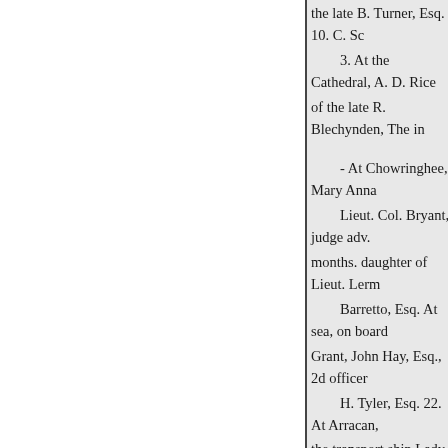the late B. Turner, Esq. 10. C. Sc
3. At the Cathedral, A. D. Rice of the late R. Blechynden, The in
- At Chowringhee, Mary Anna
Lieut. Col. Bryant, judge adv. months. daughter of Lieut. Lerm
Barretto, Esq. At sea, on board Grant, John Hay, Esq., 2d officer
H. Tyler, Esq. 22. At Arracan, the transport ship Lady Macnagh
T. Jackson, Esq., H.M.'s 14th D'Anselme, aged 30.
24. At Arracan, Mr. Assist surg
Esq., aged 25. 29. At Futtyghu Lord poor factory, aged 44.
Suffield, aged 31. July 2. Ai A
At Banda, the infant daughter